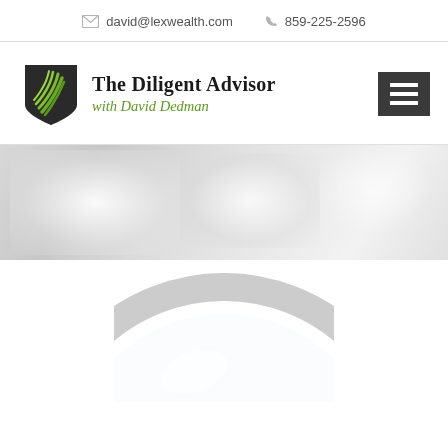david@lexwealth.com   859-225-2596
[Figure (logo): The Diligent Advisor with David Dedman logo — shield with green leaf graphic on left, serif title text on right]
[Figure (photo): Blurred light grey banner background image]
[Figure (photo): Partial magnifying glass image at bottom of page]